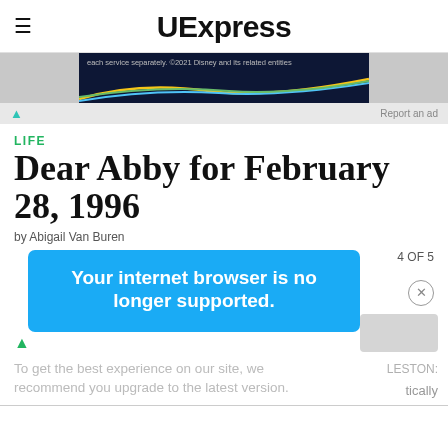UExpress
[Figure (screenshot): Ad banner with dark background showing streaming service text and colored diagonal lines]
LIFE
Dear Abby for February 28, 1996
by Abigail Van Buren
[Figure (screenshot): Blue popup overlay saying 'Your internet browser is no longer supported.' with page counter '4 OF 5' and close button visible]
To get the best experience on our site, we recommend you upgrade to the latest version.